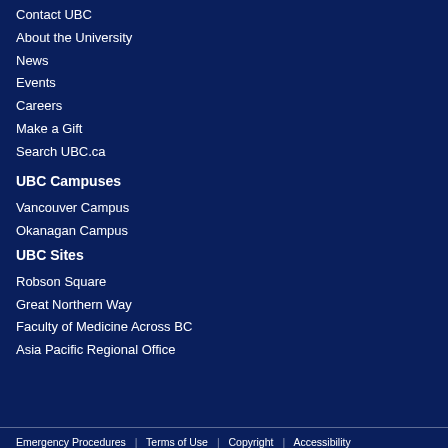Contact UBC
About the University
News
Events
Careers
Make a Gift
Search UBC.ca
UBC Campuses
Vancouver Campus
Okanagan Campus
UBC Sites
Robson Square
Great Northern Way
Faculty of Medicine Across BC
Asia Pacific Regional Office
Emergency Procedures | Terms of Use | Copyright | Accessibility